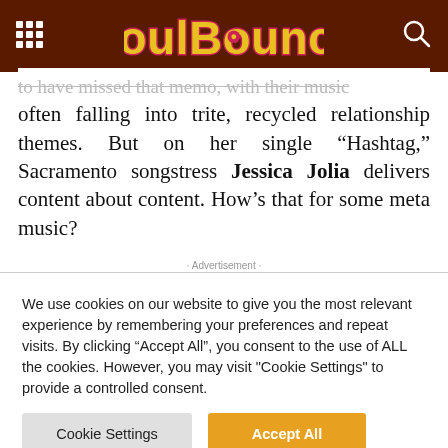SoulBounce
often falling into trite, recycled relationship themes. But on her single “Hashtag,” Sacramento songstress Jessica Jolia delivers content about content. How’s that for some meta music?
· Advertisement ·
We use cookies on our website to give you the most relevant experience by remembering your preferences and repeat visits. By clicking “Accept All”, you consent to the use of ALL the cookies. However, you may visit "Cookie Settings" to provide a controlled consent.